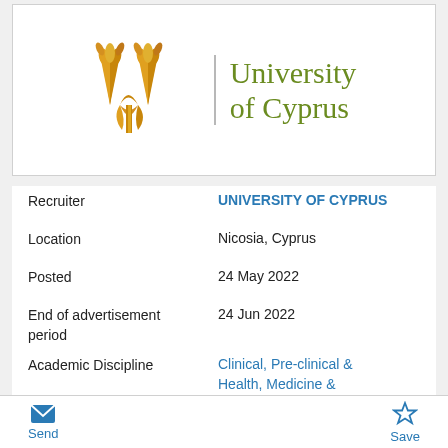[Figure (logo): University of Cyprus logo — two golden wheat/tree icons on left, vertical grey divider, then 'University of Cyprus' text in olive/green on right]
| Recruiter | UNIVERSITY OF CYPRUS |
| Location | Nicosia, Cyprus |
| Posted | 24 May 2022 |
| End of advertisement period | 24 Jun 2022 |
| Academic Discipline | Clinical, Pre-clinical & Health, Medicine & Dentistry, Engineering & Technology, |
Send   Save